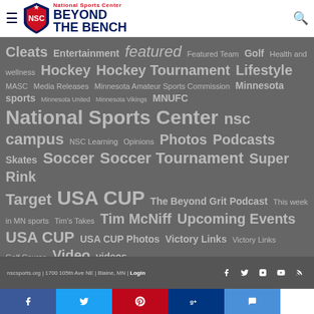National Sports Center Beyond The Bench
Cleats Entertainment featured Featured Team Golf Health and wellness Hockey Hockey Tournament Lifestyle MASC Media Releases Minnesota Amateur Sports Commission Minnesota sports Minnesota United Minnesota Vikings MNUFC National Sports Center nsc campus NSC Learning Opinions Photos Podcasts Skates Soccer Soccer Tournament Super Rink Target USA CUP The Beyond Grit Podcast This week in MN sports Tim's Takes Tim McNiff Upcoming Events USA CUP USA CUP Photos Victory Links Victory Links Golf Course Video videos
nscsports.org | 1700 105th Ave NE | Blaine, MN | Login